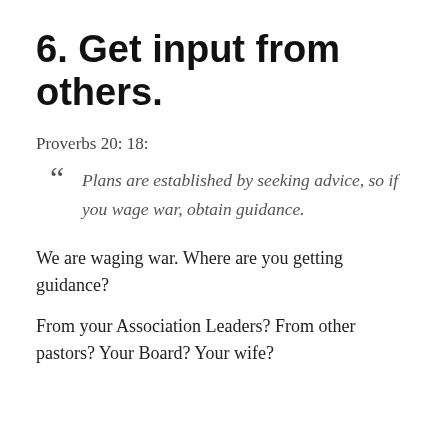6. Get input from others.
Proverbs 20: 18:
“ Plans are established by seeking advice, so if you wage war, obtain guidance.
We are waging war. Where are you getting guidance?
From your Association Leaders? From other pastors? Your Board? Your wife?